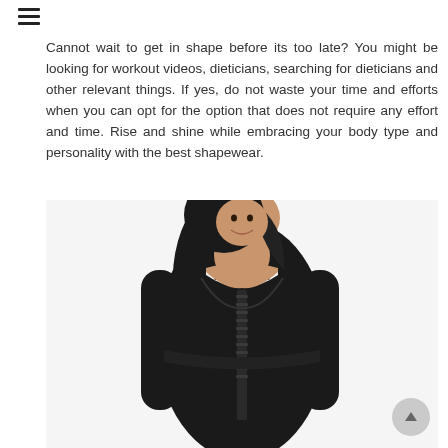[Figure (other): Hamburger menu icon (three horizontal lines) in top left corner]
Cannot wait to get in shape before its too late? You might be looking for workout videos, dieticians, searching for dieticians and other relevant things. If yes, do not waste your time and efforts when you can opt for the option that does not require any effort and time. Rise and shine while embracing your body type and personality with the best shapewear.
[Figure (photo): A woman wearing a black shapewear/bodysuit with long sleeves and front hook-and-eye closures, posing with a smile against a white background.]